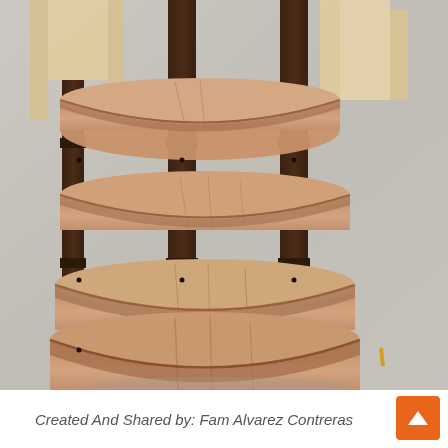[Figure (photo): A photograph of a wooden shelf unit with multiple semi-circular (half-moon shaped) shelves attached to dark wooden vertical posts/supports. The shelves appear to be made of light-colored plywood and are stacked at different heights. The structure is photographed outdoors on a concrete surface, with wooden framing visible in the background.]
Created And Shared by: Fam Alvarez Contreras